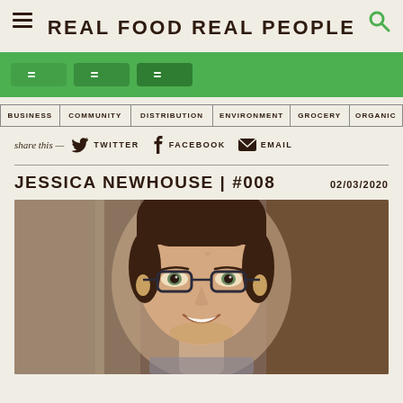REAL FOOD REAL PEOPLE
[Figure (screenshot): Green social media share buttons row]
JESSICA NEWHOUSE | #008
02/03/2020
share this — TWITTER FACEBOOK EMAIL
[Figure (photo): Portrait photo of Jessica Newhouse, a woman with glasses and brown hair pulled back, smiling in a kitchen setting]